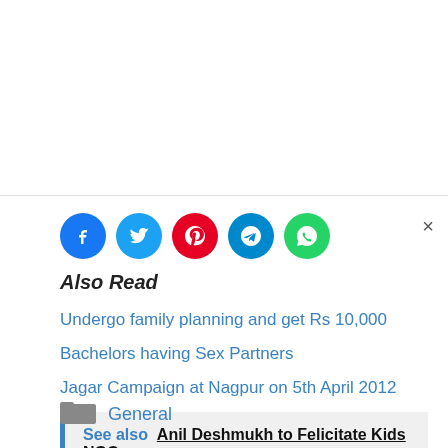[Figure (other): Social share icons: Facebook (blue), Twitter (cyan), Pinterest (red), Telegram (blue), WhatsApp (green)]
Also Read
Undergo family planning and get Rs 10,000
Bachelors having Sex Partners
Jagar Campaign at Nagpur on 5th April 2012
See also  Anil Deshmukh to Felicitate Kids NGO
General